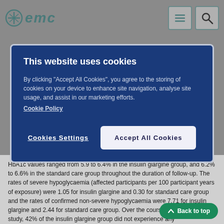emc
This website uses cookies
By clicking "Accept All Cookies", you agree to the storing of cookies on your device to enhance site navigation, analyse site usage, and assist in our marketing efforts.
Cookie Policy
Cookies Settings | Accept All Cookies
HbA1c values ranged from 5.9 to 6.4% in the insulin glargine group, and 6.2% to 6.6% in the standard care group throughout the duration of follow-up. The rates of severe hypoglycaemia (affected participants per 100 participant years of exposure) were 1.05 for insulin glargine and 0.30 for standard care group and the rates of confirmed non-severe hypoglycaemia were 7.71 for insulin glargine and 2.44 for standard care group. Over the course of this 6-year study, 42% of the insulin glargine group did not experience any hypoglycaemia.
At the last on-treatment visit, there was a mean increase in body weight from baseline of 1.4 kg in the insulin glargine group and a mean decrease of 0.8 kg in the standard care group.